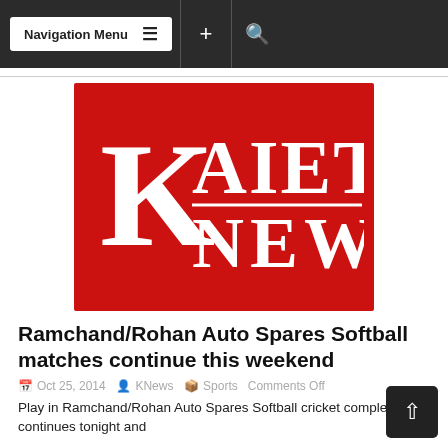Navigation Menu
[Figure (logo): Kaieteur News logo — white serif text 'K AIETEUR NEWS' on a red background]
Ramchand/Rohan Auto Spares Softball matches continue this weekend
Oct 25, 2014  KNews  Sports  Comments Off
Play in Ramchand/Rohan Auto Spares Softball cricket completion continues tonight and